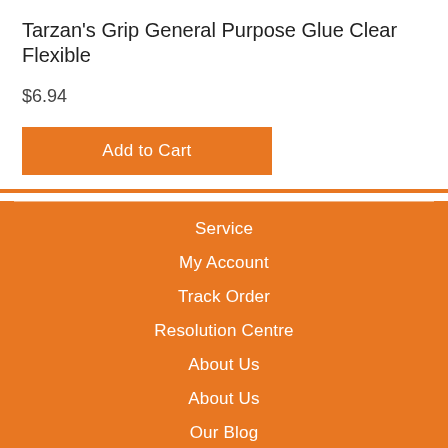Tarzan's Grip General Purpose Glue Clear Flexible
$6.94
Add to Cart
Service
My Account
Track Order
Resolution Centre
About Us
About Us
Our Blog
Contact Us